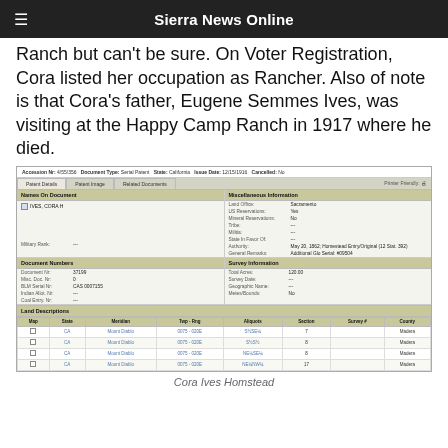Sierra News Online
Ranch but can't be sure. On Voter Registration, Cora listed her occupation as Rancher. Also of note is that Cora's father, Eugene Semmes Ives, was visiting at the Happy Camp Ranch in 1917 where he died.
[Figure (screenshot): Screenshot of a General Land Office Records document for IVES, CORA H. Shows Patent Details tab with Names On Document, Miscellaneous Information, Document Numbers, Survey Information, and Land Descriptions sections. Accession Nr: 4/55/356, Document Type: Serial Patent, State: California, Issue Date: 12/15/1916, Cancelled: No. Land Office: Sacramento, US Reservations: Yes, Mineral Reservations: No. Document Nr: 37199, Misc. Doc. Nr: 0, BLM Serial Nr: CAS 0007155. Total Acres: 120.00. Land Descriptions table shows 4 rows in CA, Mount Diablo meridian, 0075-0208 township-range, various aliquots, sections 7, 8, 8, 17, all in Madera county.]
Cora Ives Homstead